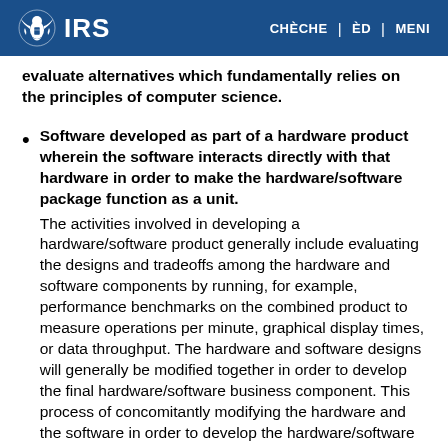IRS | CHÈCHE | ÈD | MENI
evaluate alternatives which fundamentally relies on the principles of computer science.
Software developed as part of a hardware product wherein the software interacts directly with that hardware in order to make the hardware/software package function as a unit. The activities involved in developing a hardware/software product generally include evaluating the designs and tradeoffs among the hardware and software components by running, for example, performance benchmarks on the combined product to measure operations per minute, graphical display times, or data throughput. The hardware and software designs will generally be modified together in order to develop the final hardware/software business component. This process of concomitantly modifying the hardware and the software in order to develop the hardware/software product frequently entails the identification and conducting of a process designed to